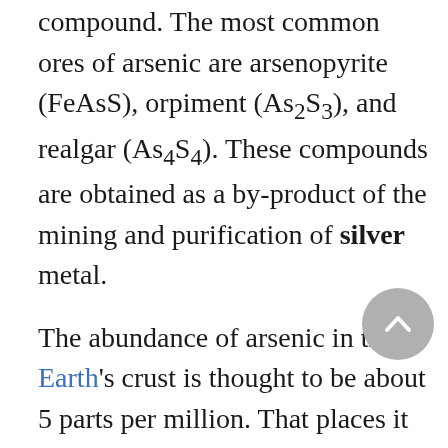compound. The most common ores of arsenic are arsenopyrite (FeAsS), orpiment (As2S3), and realgar (As4S4). These compounds are obtained as a by-product of the mining and purification of silver metal.
The abundance of arsenic in the Earth's crust is thought to be about 5 parts per million. That places it among the bottom third of the elements in abundance in the Earth's crust.
The world's largest producers of